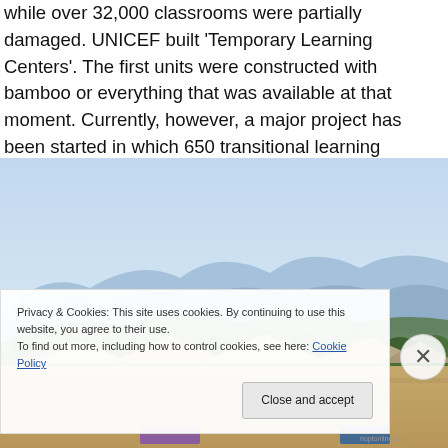while over 32,000 classrooms were partially damaged. UNICEF built 'Temporary Learning Centers'. The first units were constructed with bamboo or everything that was available at that moment. Currently, however, a major project has been started in which 650 transitional learning centres are being built with the help of the EU and other sponsors.
[Figure (photo): Photograph of temporary learning centre buildings with corrugated metal rooftops, trees and hills in the background under a clear blue sky.]
Privacy & Cookies: This site uses cookies. By continuing to use this website, you agree to their use.
To find out more, including how to control cookies, see here: Cookie Policy